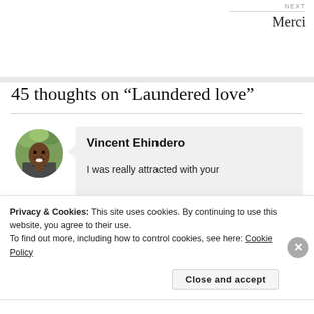NEXT
Merci
45 thoughts on “Laundered love”
[Figure (photo): Circular avatar photo of Vincent Ehindero, a smiling person outdoors]
Vincent Ehindero
I was really attracted with your
Privacy & Cookies: This site uses cookies. By continuing to use this website, you agree to their use.
To find out more, including how to control cookies, see here: Cookie Policy
Close and accept